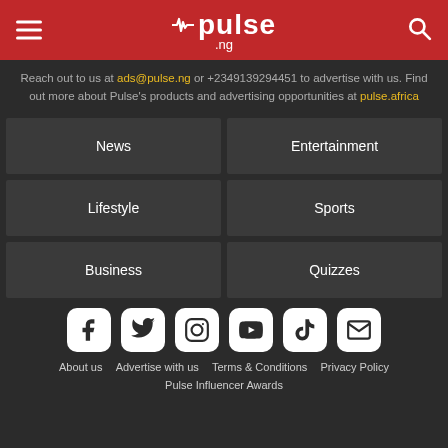[Figure (logo): Pulse.ng logo with heartbeat icon on red header bar with hamburger menu and search icon]
Reach out to us at ads@pulse.ng or +2349139294451 to advertise with us. Find out more about Pulse's products and advertising opportunities at pulse.africa
News
Entertainment
Lifestyle
Sports
Business
Quizzes
[Figure (illustration): Social media icons: Facebook, Twitter, Instagram, YouTube, TikTok, Email]
About us  Advertise with us  Terms & Conditions  Privacy Policy  Pulse Influencer Awards